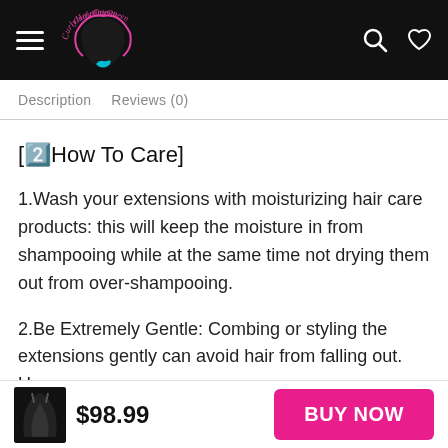CurlyHairQueen — Navigation bar with hamburger menu, logo, search and heart icons
Description   Reviews (0)
[2️⃣How To Care]
1.Wash your extensions with moisturizing hair care products: this will keep the moisture in from shampooing while at the same time not drying them out from over-shampooing.
2.Be Extremely Gentle: Combing or styling the extensions gently can avoid hair from falling out. Use
$98.99   BUY NOW